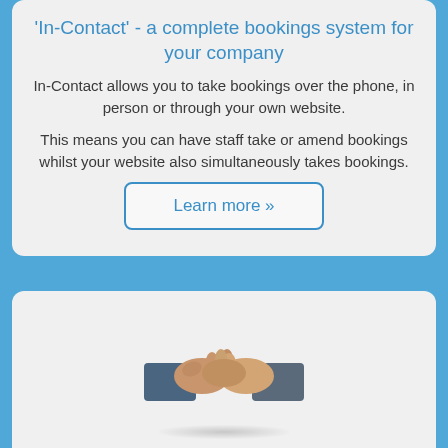'In-Contact' - a complete bookings system for your company
In-Contact allows you to take bookings over the phone, in person or through your own website.
This means you can have staff take or amend bookings whilst your website also simultaneously takes bookings.
Learn more »
[Figure (illustration): Handshake image showing two hands shaking, representing business partnership]
Help from the start
Trying to get a new booking system in place can be very confusing. We help you from the start and guide you through the whole process.
You describe to us what you are after and then we configure it...